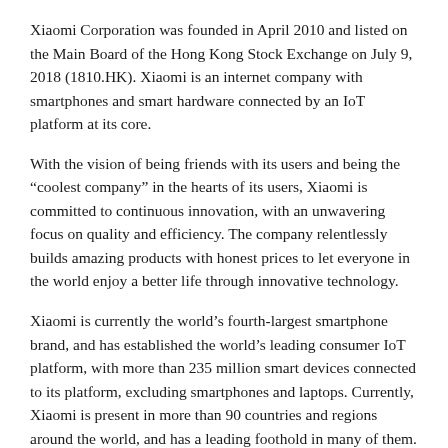Xiaomi Corporation was founded in April 2010 and listed on the Main Board of the Hong Kong Stock Exchange on July 9, 2018 (1810.HK). Xiaomi is an internet company with smartphones and smart hardware connected by an IoT platform at its core.
With the vision of being friends with its users and being the “coolest company” in the hearts of its users, Xiaomi is committed to continuous innovation, with an unwavering focus on quality and efficiency. The company relentlessly builds amazing products with honest prices to let everyone in the world enjoy a better life through innovative technology.
Xiaomi is currently the world’s fourth-largest smartphone brand, and has established the world’s leading consumer IoT platform, with more than 235 million smart devices connected to its platform, excluding smartphones and laptops. Currently, Xiaomi is present in more than 90 countries and regions around the world, and has a leading foothold in many of them.
In July 2019, the company made the Fortune Global 500 list for the first time, ranking 468th among all, and 7th among internet companies. Xiaomi is the youngest company on the 2019...